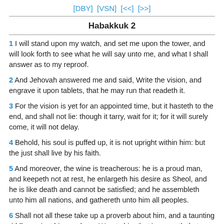[DBY]  [VSN]  [<<]  [>>]
Habakkuk 2
1 I will stand upon my watch, and set me upon the tower, and will look forth to see what he will say unto me, and what I shall answer as to my reproof.
2 And Jehovah answered me and said, Write the vision, and engrave it upon tablets, that he may run that readeth it.
3 For the vision is yet for an appointed time, but it hasteth to the end, and shall not lie: though it tarry, wait for it; for it will surely come, it will not delay.
4 Behold, his soul is puffed up, it is not upright within him: but the just shall live by his faith.
5 And moreover, the wine is treacherous: he is a proud man, and keepeth not at rest, he enlargeth his desire as Sheol, and he is like death and cannot be satisfied; and he assembleth unto him all nations, and gathereth unto him all peoples.
6 Shall not all these take up a proverb about him, and a taunting riddle against him, and say, Woe to him that increaseth that which is